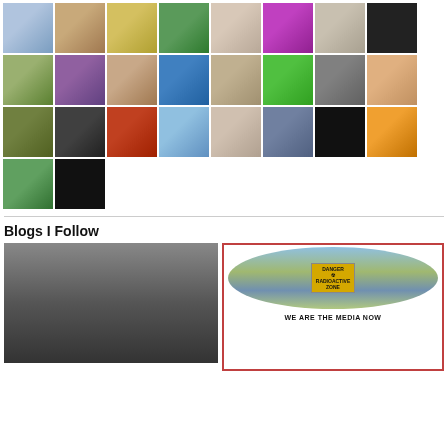[Figure (photo): Grid/mosaic of user avatar thumbnails, approximately 26 small square images arranged in rows]
Blogs I Follow
[Figure (photo): Black and white portrait photo of a woman with short hair, bookshelves behind her]
[Figure (photo): Blog card with globe image showing radioactive danger label and text WE ARE THE MEDIA NOW]